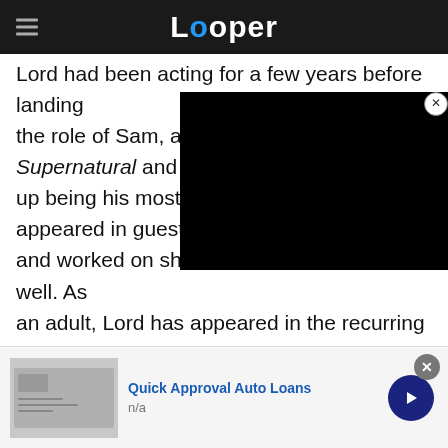Looper
Lord had been acting for a few years before landing the role of Sam, appearing on Supernatural and Smallville. [video overlay obscures text] up being his most high-profile [obscured] appeared in guest roles on [obscured] and worked on short films and features as well. As an adult, Lord has appeared in the recurring role of Thomas Smith on Amazon's The Man in the High Castle. While he's far too old now to play Sam in the Trick 'r Treat sequel in development, we can't wait to
[Figure (screenshot): Black video player overlay in top right of article]
Quick Approval Auto Loans
n/a